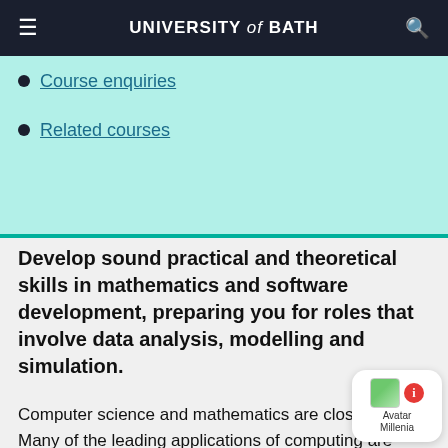UNIVERSITY of BATH
Course enquiries
Related courses
Develop sound practical and theoretical skills in mathematics and software development, preparing you for roles that involve data analysis, modelling and simulation.
Computer science and mathematics are closely linked. Many of the leading applications of computing are mathematical, and computers are fundamentally logic engines.